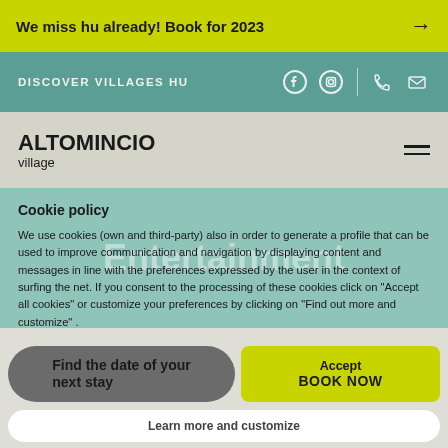We miss hu already! Book for 2023 →
DISCOVER VILLAGES HU
ALTOMINCIO village
Cookie policy
We use cookies (own and third-party) also in order to generate a profile that can be used to improve communication and navigation by displaying content and messages in line with the preferences expressed by the user in the context of surfing the net. If you consent to the processing of these cookies click on "Accept all cookies" or customize your preferences by clicking on "Find out more and customize" .
For more information on how to change your cookie settings, see Privacy & cookie policy.
You can freely give, refuse or withdraw your consent at any time.
Find the date of your next stay
Accept
BOOK NOW
Learn more and customize